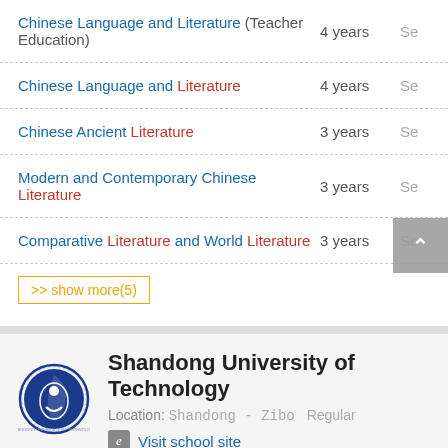Chinese Language and Literature (Teacher Education) | 4 years | Se
Chinese Language and Literature | 4 years | Se
Chinese Ancient Literature | 3 years | Se
Modern and Contemporary Chinese Literature | 3 years | Se
Comparative Literature and World Literature | 3 years | Se
>> show more(5)
Shandong University of Technology
Location: Shandong - Zibo Regular
Visit school site
| Course | Duration | St |
| --- | --- | --- |
| Literary Theory and the Comparison of Chinese and | 3 years | S |